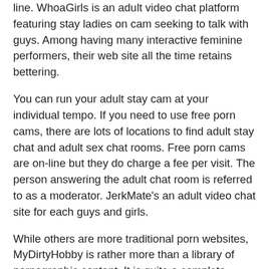line. WhoaGirls is an adult video chat platform featuring stay ladies on cam seeking to talk with guys. Among having many interactive feminine performers, their web site all the time retains bettering.
You can run your adult stay cam at your individual tempo. If you need to use free porn cams, there are lots of locations to find adult stay chat and adult sex chat rooms. Free porn cams are on-line but they do charge a fee per visit. The person answering the adult chat room is referred to as a moderator. JerkMate's an adult video chat site for each guys and girls.
While others are more traditional porn websites, MyDirtyHobby is rather more than a library of pornographic content. It is quite a complete horny social community, with plenty of women to talk each in your area and abroad. My Dirty Hobby was created in 2008 and is registered in Cyprus and combines the best adult cam of all our favourite adult sites in one place. If all you want is similar old good